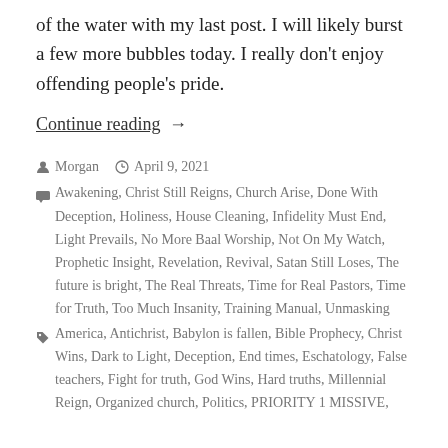of the water with my last post. I will likely burst a few more bubbles today. I really don't enjoy offending people's pride.
Continue reading →
Morgan  April 9, 2021
Awakening, Christ Still Reigns, Church Arise, Done With Deception, Holiness, House Cleaning, Infidelity Must End, Light Prevails, No More Baal Worship, Not On My Watch, Prophetic Insight, Revelation, Revival, Satan Still Loses, The future is bright, The Real Threats, Time for Real Pastors, Time for Truth, Too Much Insanity, Training Manual, Unmasking
America, Antichrist, Babylon is fallen, Bible Prophecy, Christ Wins, Dark to Light, Deception, End times, Eschatology, False teachers, Fight for truth, God Wins, Hard truths, Millennial Reign, Organized church, Politics, PRIORITY 1 MISSIVE,